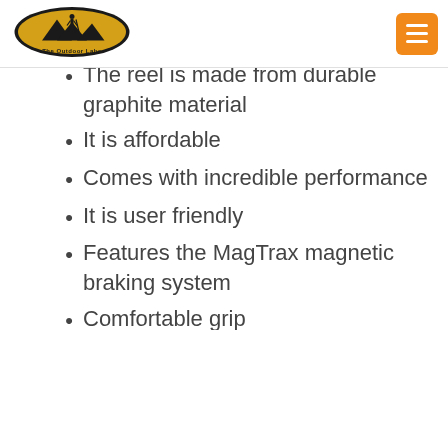The Outdoor Labs
The reel is made from durable graphite material
It is affordable
Comes with incredible performance
It is user friendly
Features the MagTrax magnetic braking system
Comfortable grip